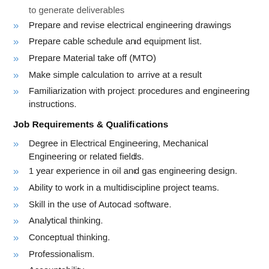to generate deliverables
Prepare and revise electrical engineering drawings
Prepare cable schedule and equipment list.
Prepare Material take off (MTO)
Make simple calculation to arrive at a result
Familiarization with project procedures and engineering instructions.
Job Requirements & Qualifications
Degree in Electrical Engineering, Mechanical Engineering or related fields.
1 year experience in oil and gas engineering design.
Ability to work in a multidiscipline project teams.
Skill in the use of Autocad software.
Analytical thinking.
Conceptual thinking.
Professionalism.
Accountability.
Salary